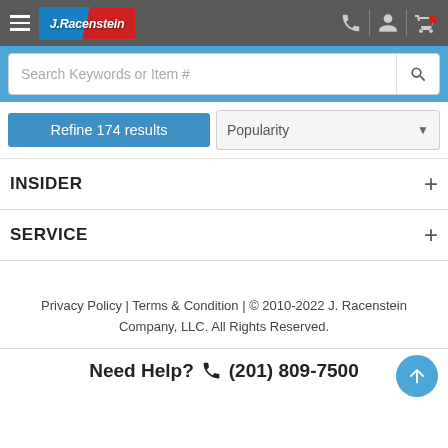J.Racenstein — Navigation header with hamburger menu, logo, phone, account, and cart icons
Search Keywords or Item #
Refine 174 results | Popularity (sort dropdown)
INSIDER
SERVICE
Privacy Policy | Terms & Condition | © 2010-2022 J. Racenstein Company, LLC. All Rights Reserved.
Need Help? (201) 809-7500